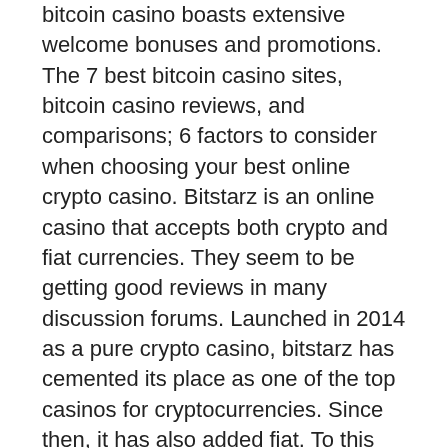bitcoin casino boasts extensive welcome bonuses and promotions. The 7 best bitcoin casino sites, bitcoin casino reviews, and comparisons; 6 factors to consider when choosing your best online crypto casino. Bitstarz is an online casino that accepts both crypto and fiat currencies. They seem to be getting good reviews in many discussion forums. Launched in 2014 as a pure crypto casino, bitstarz has cemented its place as one of the top casinos for cryptocurrencies. Since then, it has also added fiat. To this end, here are highlights of the best bitcoin casinos rtg online today, review on bitstarz. Exclusive bonuses are bolded in the list. Bitcoin casino gambling &amp; games. Best casinos with faucet. Our bitcoin casino can. Read our trusted bitstarz casino review. Deposit with bitcoins and get. All the best slots and casino games. That sounds exciting, but how does bitstarz compare to other crypto casinos? Bitstarz have casino